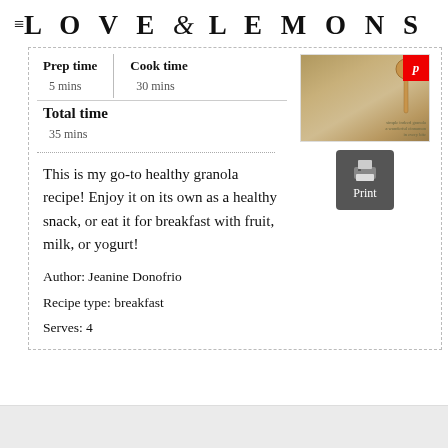LOVE & LEMONS
| Prep time | Cook time |
| --- | --- |
| 5 mins | 30 mins |
Total time
35 mins
[Figure (photo): Photo of granola in a baking dish with a wooden spoon, with a Pinterest badge overlay]
[Figure (other): Print button icon]
This is my go-to healthy granola recipe! Enjoy it on its own as a healthy snack, or eat it for breakfast with fruit, milk, or yogurt!
Author: Jeanine Donofrio
Recipe type: breakfast
Serves: 4